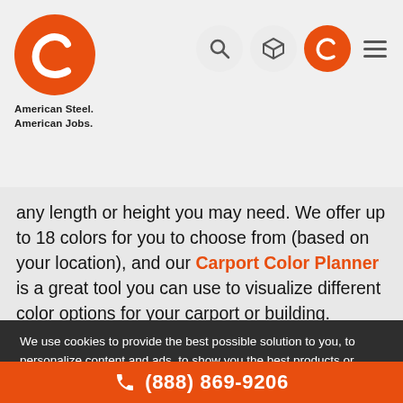[Figure (logo): American Steel carports logo - orange circle with white C letter]
American Steel.
American Jobs.
any length or height you may need. We offer up to 18 colors for you to choose from (based on your location), and our Carport Color Planner is a great tool you can use to visualize different color options for your carport or building.
We can design and install certified metal carports in Fairfax,
We use cookies to provide the best possible solution to you, to personalize content and ads, to show you the best products or services you're looking for. For more details visit Privacy Policy.
OK, THANKS
gauge options, door options, window options, and more!
(888) 869-9206